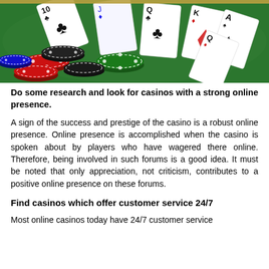[Figure (photo): Casino chips (red, black, green, blue) and playing cards spread on a green felt table surface. Cards include 10 of clubs, Q of clubs, K of diamonds, A, Q and other cards visible.]
Do some research and look for casinos with a strong online presence.
A sign of the success and prestige of the casino is a robust online presence. Online presence is accomplished when the casino is spoken about by players who have wagered there online. Therefore, being involved in such forums is a good idea. It must be noted that only appreciation, not criticism, contributes to a positive online presence on these forums.
Find casinos which offer customer service 24/7
Most online casinos today have 24/7 customer service